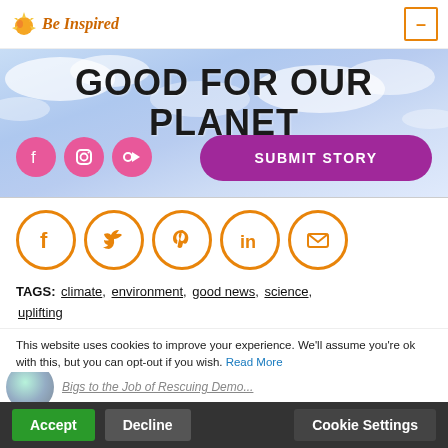Be Inspired
[Figure (illustration): Banner with sky background, text GOOD FOR OUR PLANET, pink social icons (Facebook, Instagram, RSS), and a purple SUBMIT STORY button]
[Figure (illustration): Row of five orange circle social icons: Facebook, Twitter, Pinterest, LinkedIn, Email]
TAGS: climate, environment, good news, science, uplifting
This website uses cookies to improve your experience. We'll assume you're ok with this, but you can opt-out if you wish. Read More
Accept   Decline   Cookie Settings